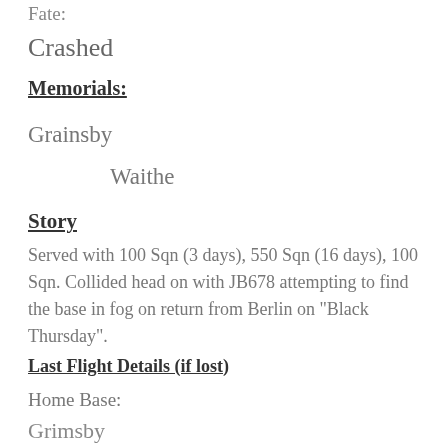Fate:
Crashed
Memorials:
Grainsby
Waithe
Story
Served with 100 Sqn (3 days), 550 Sqn (16 days), 100 Sqn. Collided head on with JB678 attempting to find the base in fog on return from Berlin on "Black Thursday".
Last Flight Details (if lost)
Home Base:
Grimsby